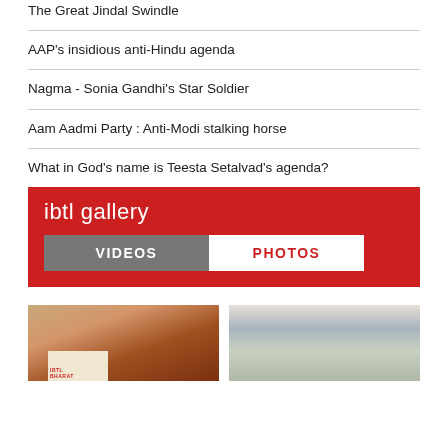The Great Jindal Swindle
AAP's insidious anti-Hindu agenda
Nagma - Sonia Gandhi's Star Soldier
Aam Aadmi Party : Anti-Modi stalking horse
What in God's name is Teesta Setalvad's agenda?
ibtl gallery
VIDEOS  PHOTOS
[Figure (photo): Woman in red sari speaking at IBTL Bharat podium]
[Figure (photo): Large crowd with Indian flags at a rally]